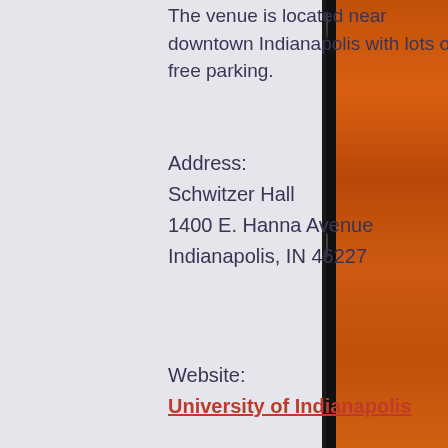The venue is located near downtown Indianapolis with lots of free parking.
Address:
Schwitzer Hall
1400 E. Hanna Avenue
Indianapolis, IN 46227
Website:
University of Indianapolis
[Figure (photo): Blurred map or document image in a cream/beige card area, partially visible at bottom of page. A white circular scroll-up button with a caret/chevron arrow appears in the lower right.]